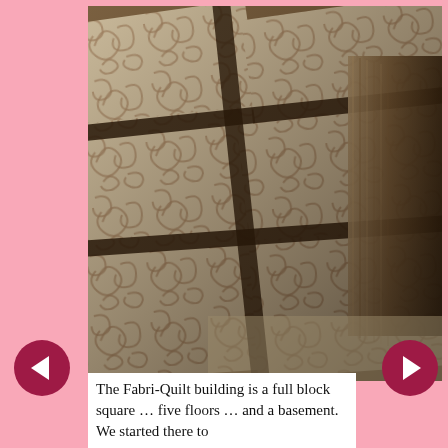[Figure (photo): Close-up photograph of patterned fabric squares or tiles arranged in a grid pattern with dark separators, stacked and interwoven. The fabric has a beige/tan swirling pattern on a slightly darker background.]
The Fabri-Quilt building is a full block square … five floors … and a basement. We started there to